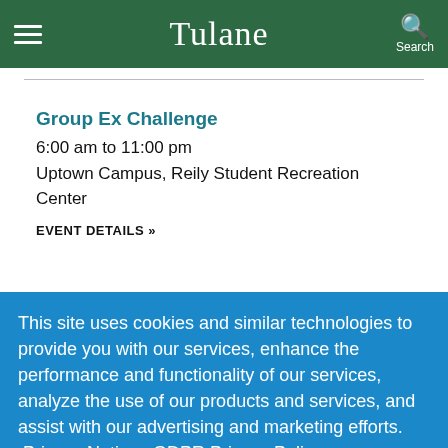Tulane
Group Ex Challenge
6:00 am to 11:00 pm
Uptown Campus, Reily Student Recreation Center
EVENT DETAILS »
This site uses cookies and similar technologies to provide you with our services, enhance the performance and functionality of our services, analyze the use of our products and services, and assist with our advertising and marketing efforts.  Privacy Notice   GDPR Privacy Policy